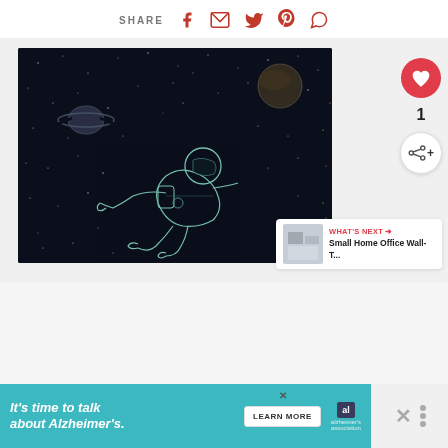SHARE
[Figure (illustration): Line art illustration of an astronaut floating in space on a dark navy background with stars, planets including Saturn with rings and another planet, depicted in teal/mint outline style]
1
WHAT'S NEXT → Small Home Office Wall-T...
It's time to talk about Alzheimer's. LEARN MORE